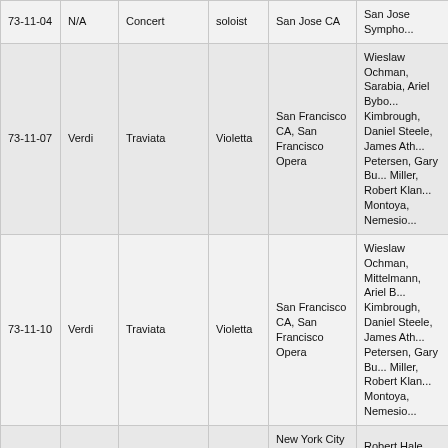| Date | Composer | Opera | Role | Venue | Cast |
| --- | --- | --- | --- | --- | --- |
| 73-11-04 | N/A | Concert | soloist | San Jose CA | San Jose Sympho... |
| 73-11-07 | Verdi | Traviata | Violetta | San Francisco CA, San Francisco Opera | Wieslaw Ochman, Sarabia, Ariel Bybo... Kimbrough, Daniel Steele, James Ath... Petersen, Gary Bu... Miller, Robert Klan... Montoya, Nemesio... |
| 73-11-10 | Verdi | Traviata | Violetta | San Francisco CA, San Francisco Opera | Wieslaw Ochman, Mittelmann, Ariel B... Kimbrough, Daniel Steele, James Ath... Petersen, Gary Bu... Miller, Robert Klan... Montoya, Nemesio... |
| 73-11-14 | Donizetti | Anna Bolena | Anna | New York City Opera in Los Angeles (Dorothy Chandler Pavilion) | Robert Hale, Enric... Samuel Ramey, S... Jeanne Piland, Jol... |
| 73-11-17 (M) | Donizetti | Roberto Devereux | Elizabeth I | New York City Opera in Los Angeles (Dorothy Chandler Pavilion) | Susanne Marsee, Terranova, Richard... Samuel Ramey, D... Langston |
| 73-11-20 | Verdi | Traviata | Violetta | San Francisco CA, San Francisco Opera | Wieslaw Ochman, Sarabia, Ariel Bybo... Kimbrough, Daniel Steele, James Ath... Petersen, Gary Bu... Miller, Robert Klan... Montoya, Nemesio... |